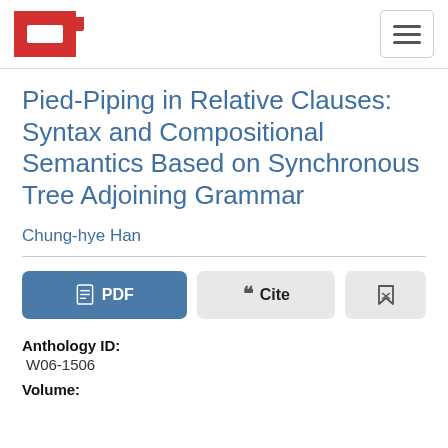ACL Anthology logo and navigation
Pied-Piping in Relative Clauses: Syntax and Compositional Semantics Based on Synchronous Tree Adjoining Grammar
Chung-hye Han
PDF  Cite  [bookmark]
Anthology ID:
W06-1506
Volume: